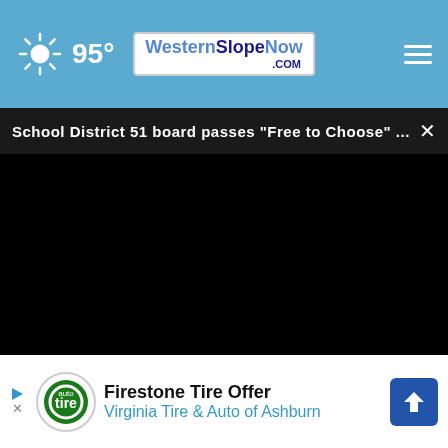95° Western Slope Now .com
School District 51 board passes "Free to Choose" ...
[Figure (screenshot): Video player with black screen, progress bar, and playback controls showing 00:00]
[Figure (photo): Partial background photo with warm brown/golden tones visible behind ad overlay]
Firestone Tire Offer
Virginia Tire & Auto of Ashburn